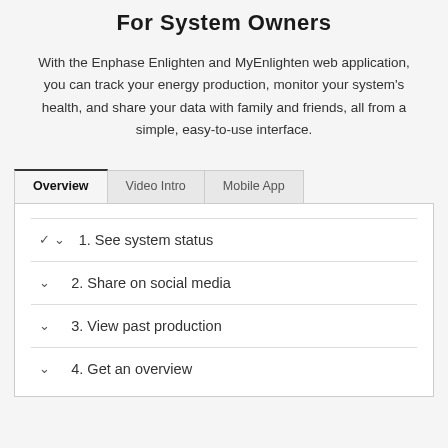For System Owners
With the Enphase Enlighten and MyEnlighten web application, you can track your energy production, monitor your system's health, and share your data with family and friends, all from a simple, easy-to-use interface.
Overview
Video Intro
Mobile App
1. See system status
2. Share on social media
3. View past production
4. Get an overview